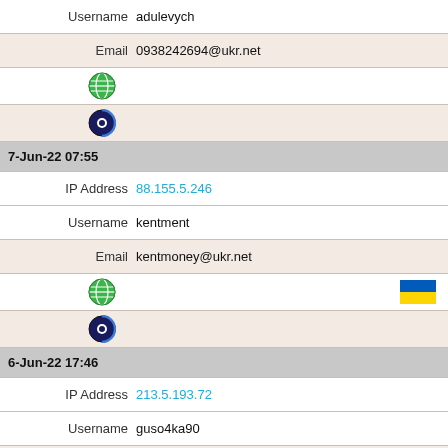Username  adulevych
Email  0938242694@ukr.net
[Figure (other): Globe icon]
[Figure (other): Tor/onion icon]
7-Jun-22 07:55
IP Address  88.155.5.246
Username  kentment
Email  kentmoney@ukr.net
[Figure (other): Globe icon and Ukraine flag]
[Figure (other): Tor/onion icon]
6-Jun-22 17:46
IP Address  213.5.193.72
Username  guso4ka90
Email  guso4ka90@ukr.net
[Figure (other): Globe icon and Ukraine flag]
[Figure (other): Tor/onion icon]